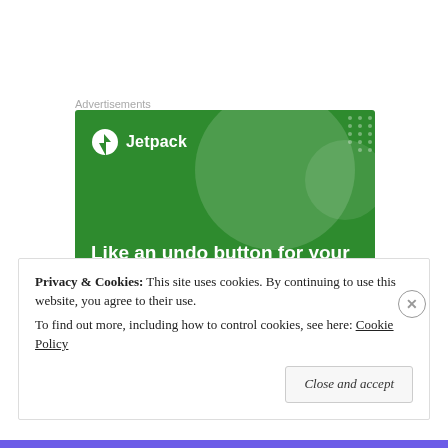Advertisements
[Figure (illustration): Jetpack advertisement banner with green background showing Jetpack logo and tagline 'Like an undo button for your WordPress site']
Privacy & Cookies: This site uses cookies. By continuing to use this website, you agree to their use. To find out more, including how to control cookies, see here: Cookie Policy
Close and accept